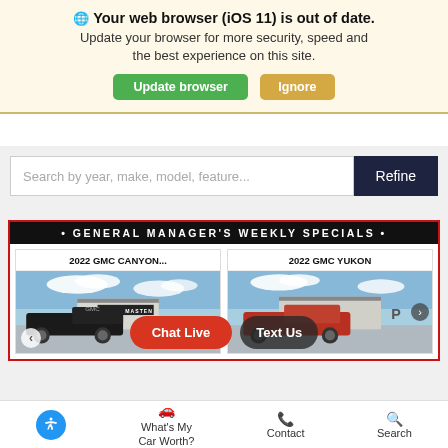🌐 Your web browser (iOS 11) is out of date. Update your browser for more security, speed and the best experience on this site. [Update browser] [Ignore]
Search by year, make, model, feature...  Refine
• GENERAL MANAGER'S WEEKLY SPECIALS •
[Figure (screenshot): Two car listings side by side: '2022 GMC CANYON...' and '2022 GMC YUKON', each showing a photo of the vehicle with 'Beck & Masten' dealership signage. Overlay buttons 'Chat Live' (red) and 'Text Us' (dark) appear on the images. A left navigation arrow is visible.]
What's My Car Worth?  Contact  Search